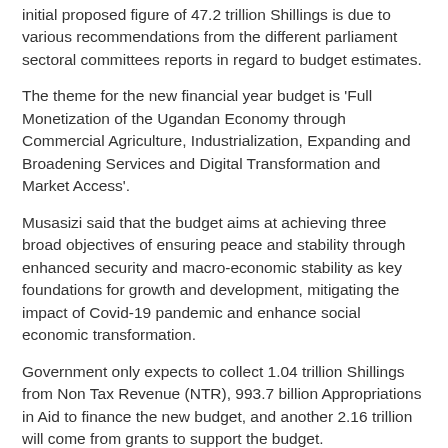initial proposed figure of 47.2 trillion Shillings is due to various recommendations from the different parliament sectoral committees reports in regard to budget estimates.
The theme for the new financial year budget is 'Full Monetization of the Ugandan Economy through Commercial Agriculture, Industrialization, Expanding and Broadening Services and Digital Transformation and Market Access'.
Musasizi said that the budget aims at achieving three broad objectives of ensuring peace and stability through enhanced security and macro-economic stability as key foundations for growth and development, mitigating the impact of Covid-19 pandemic and enhance social economic transformation.
Government only expects to collect 1.04 trillion Shillings from Non Tax Revenue (NTR), 993.7 billion Appropriations in Aid to finance the new budget, and another 2.16 trillion will come from grants to support the budget.
Domestic borrowing will account for 12.9 trillion, external borrowing 7.165 trillion (about $2billion).
Patrick Isiagi, the Budget Committee Chairperson